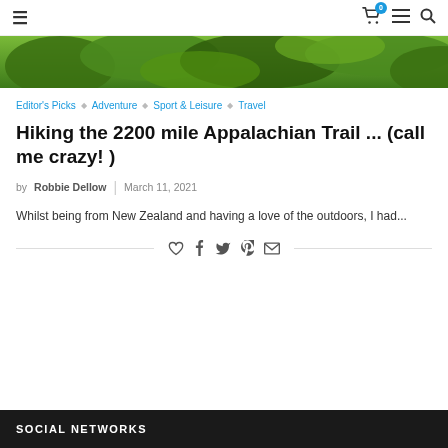Navigation header with hamburger menu, cart icon (badge: 0), menu icon, search icon
[Figure (photo): Green forest canopy / tree foliage hero image]
Editor's Picks ◇ Adventure ◇ Sport & Leisure ◇ Travel
Hiking the 2200 mile Appalachian Trail ... (call me crazy! )
by Robbie Dellow | March 11, 2021
Whilst being from New Zealand and having a love of the outdoors, I had...
[Figure (infographic): Social share icons row: heart, facebook, twitter, pinterest, email]
SOCIAL NETWORKS